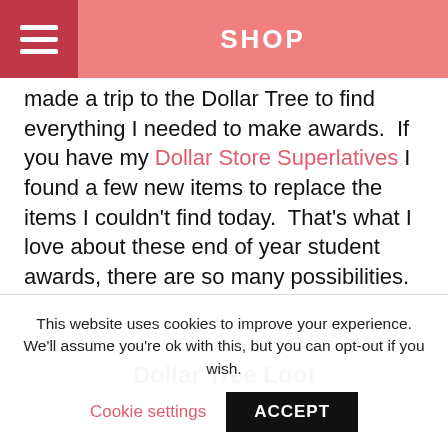SHOP
- wi give made a trip to the Dollar Tree to find everything I needed to make awards. If you have my Dollar Store Superlatives I found a few new items to replace the items I couldn't find today. That's what I love about these end of year student awards, there are so many possibilities.
Dollar Tree Loot
This website uses cookies to improve your experience. We'll assume you're ok with this, but you can opt-out if you wish. Cookie settings ACCEPT